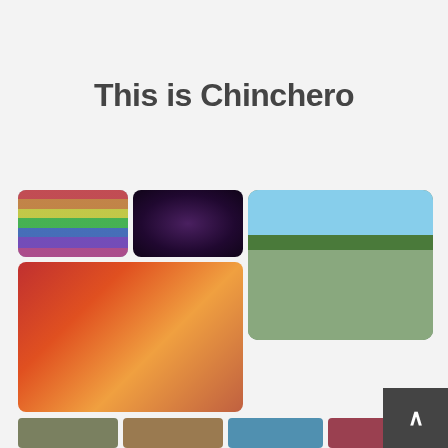This is Chinchero
[Figure (photo): People holding a rainbow flag (Wiphala/Cusco flag) outdoors]
[Figure (photo): Close-up of dark colored traditional textile/garment with decorative elements]
[Figure (photo): Large group photo of people in traditional Peruvian dress with red hats in a courtyard]
[Figure (photo): Close-up of person weaving traditional Andean textile]
[Figure (photo): Partial bottom row images of Chinchero scenes]